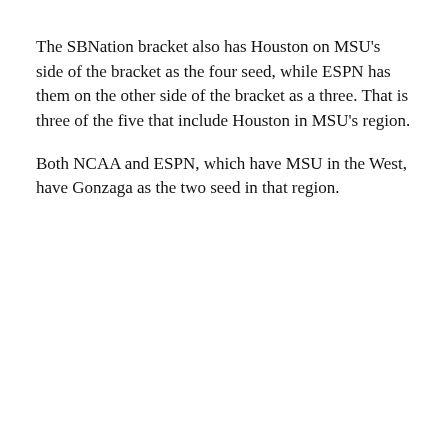The SBNation bracket also has Houston on MSU's side of the bracket as the four seed, while ESPN has them on the other side of the bracket as a three. That is three of the five that include Houston in MSU's region.
Both NCAA and ESPN, which have MSU in the West, have Gonzaga as the two seed in that region.
[Figure (screenshot): Video player screenshot showing football players in red uniforms, with a 'Top Articles' label, play button in center, navigation arrow, and caption 'UNLV football’s ‘turnover slot machine’ is college football’s greatest celebratory prop yet']